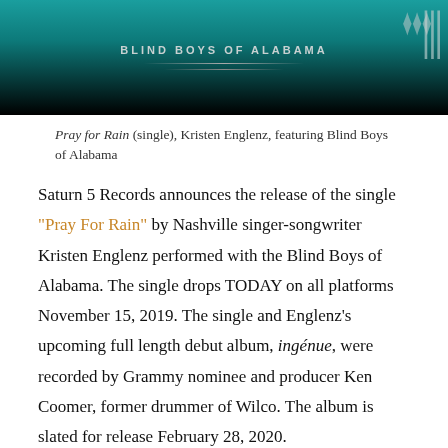[Figure (photo): Album/single cover image for 'Blind Boys of Alabama' — dark background with teal gradient and band name text in white, decorative feather/hair elements on right side]
Pray for Rain (single), Kristen Englenz, featuring Blind Boys of Alabama
Saturn 5 Records announces the release of the single "Pray For Rain" by Nashville singer-songwriter Kristen Englenz performed with the Blind Boys of Alabama. The single drops TODAY on all platforms November 15, 2019. The single and Englenz's upcoming full length debut album, ingénue, were recorded by Grammy nominee and producer Ken Coomer, former drummer of Wilco. The album is slated for release February 28, 2020.
Roots music journal No Depression called